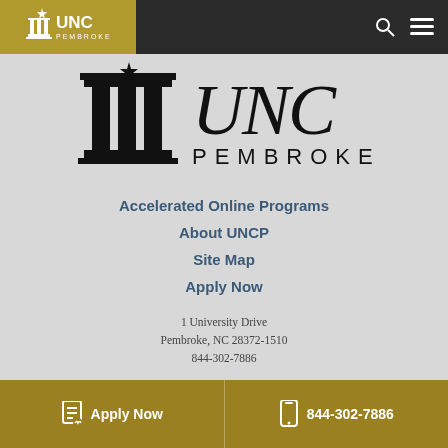[Figure (logo): UNC Pembroke logo in top navigation bar - white text and building icon on gold background]
[Figure (logo): Large UNC Pembroke logo - black building columns with UNC PEMBROKE text]
Accelerated Online Programs
About UNCP
Site Map
Apply Now
1 University Drive
Pembroke, NC 28372-1510
844-302-7886
© 2022 The University of North Carolina at Pembroke
All rights reserved. Privacy Policy
Apply Now   844-302-7886